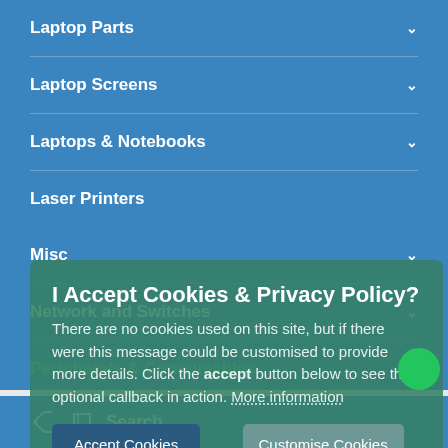Laptop Parts
Laptop Screens
Laptops & Notebooks
Laser Printers
Misc
Network and Switches
Peripherals & Consumables
Software
Systems – System Bundles
VHS Conversion Service
I Accept Cookies & Privacy Policy?
There are no cookies used on this site, but if there were this message could be customised to provide more details. Click the accept button below to see the optional callback in action. More information
Accept Cookies
Customise Cookies
Search